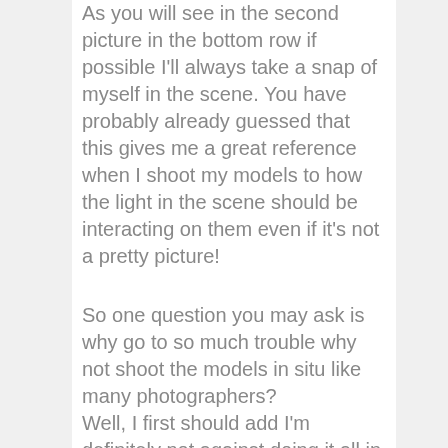As you will see in the second picture in the bottom row if possible I'll always take a snap of myself in the scene. You have probably already guessed that this gives me a great reference when I shoot my models to how the light in the scene should be interacting on them even if it's not a pretty picture!
So one question you may ask is why go to so much trouble why not shoot the models in situ like many photographers? Well, I first should add I'm definitely not against doing it all in camera and often